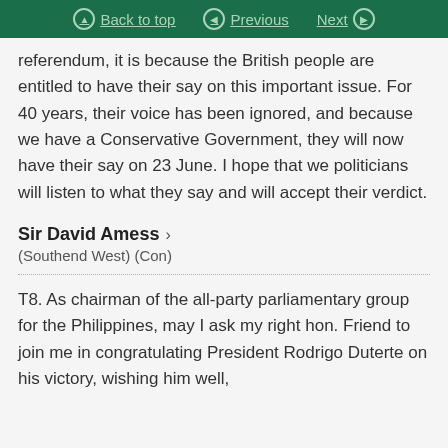Back to top | Previous | Next
referendum, it is because the British people are entitled to have their say on this important issue. For 40 years, their voice has been ignored, and because we have a Conservative Government, they will now have their say on 23 June. I hope that we politicians will listen to what they say and will accept their verdict.
Sir David Amess
(Southend West) (Con)
T8. As chairman of the all-party parliamentary group for the Philippines, may I ask my right hon. Friend to join me in congratulating President Rodrigo Duterte on his victory, wishing him well,